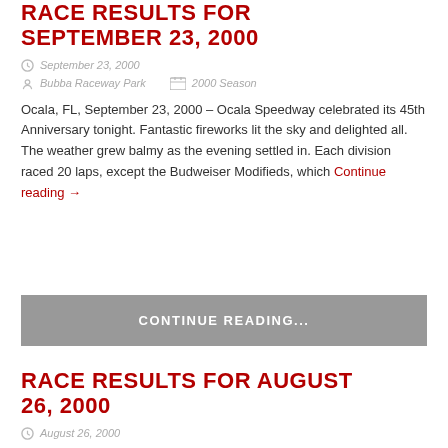RACE RESULTS FOR SEPTEMBER 23, 2000
September 23, 2000
Bubba Raceway Park   2000 Season
Ocala, FL, September 23, 2000 – Ocala Speedway celebrated its 45th Anniversary tonight. Fantastic fireworks lit the sky and delighted all. The weather grew balmy as the evening settled in. Each division raced 20 laps, except the Budweiser Modifieds, which Continue reading →
CONTINUE READING...
RACE RESULTS FOR AUGUST 26, 2000
August 26, 2000